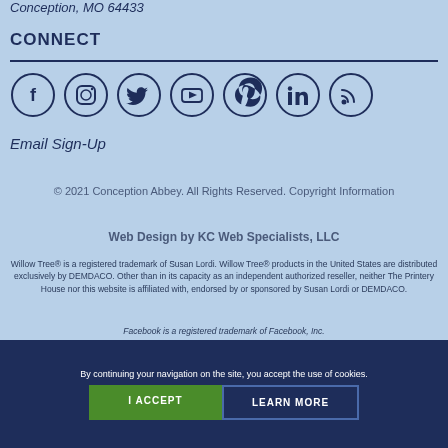Conception, MO 64433
CONNECT
[Figure (other): Row of 7 social media icons in circles: Facebook, Instagram, Twitter, YouTube, Pinterest, LinkedIn, RSS]
Email Sign-Up
© 2021 Conception Abbey. All Rights Reserved. Copyright Information
Web Design by KC Web Specialists, LLC
Willow Tree® is a registered trademark of Susan Lordi. Willow Tree® products in the United States are distributed exclusively by DEMDACO. Other than in its capacity as an independent authorized reseller, neither The Printery House nor this website is affiliated with, endorsed by or sponsored by Susan Lordi or DEMDACO.
Facebook is a registered trademark of Facebook, Inc.
By continuing your navigation on the site, you accept the use of cookies.
I ACCEPT
LEARN MORE